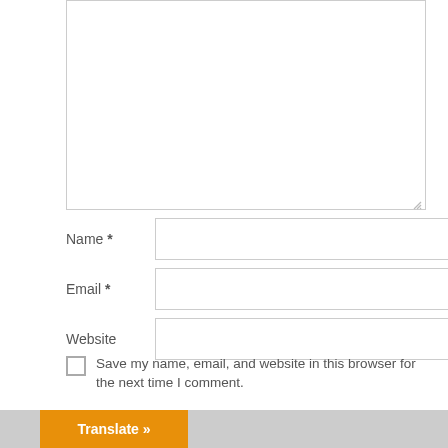[textarea - comment input field]
Name *
Email *
Website
Save my name, email, and website in this browser for the next time I comment.
POST COMMENT
Translate »